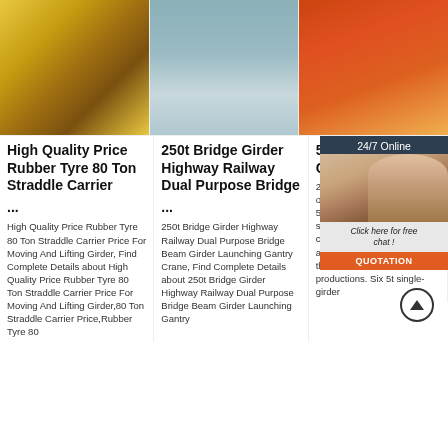[Figure (photo): Overhead crane in industrial warehouse with yellow girders]
[Figure (photo): Interior of factory/warehouse with overhead bridge crane]
[Figure (photo): Orange/red electric chain hoist on white background]
High Quality Price Rubber Tyre 80 Ton Straddle Carrier
...
High Quality Price Rubber Tyre 80 Ton Straddle Carrier Price For Moving And Lifting Girder, Find Complete Details about High Quality Price Rubber Tyre 80 Ton Straddle Carrier Price For Moving And Lifting Girder,80 Ton Straddle Carrier Price,Rubber Tyre 80
250t Bridge Girder Highway Railway Dual Purpose Bridge
...
250t Bridge Girder Highway Railway Dual Purpose Bridge Beam Girder Launching Gantry Crane, Find Complete Details about 250t Bridge Girder Highway Railway Dual Purpose Bridge Beam Girder Launching Gantry
5t Cra... 32m S... Crane... Hoist M...
2021-7-21u200... 5t single... overhea... a span c... and 5.5m lifting height; two 2t single-girder overhead cranes with a span of 18.32m and 5.6m lifting height. In the three clocked productions. Six 5t single-girder
[Figure (photo): Customer service representative with headset - chat widget overlay with 24/7 Online label, Click here for free chat, and QUOTATION button]